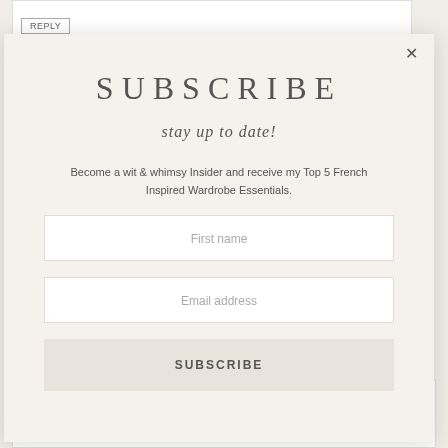[Figure (screenshot): Background page content showing a Reply button at the top and a date stamp 'March 18, 2019 at 10:31 am' at the bottom]
SUBSCRIBE
stay up to date!
Become a wit & whimsy Insider and receive my Top 5 French Inspired Wardrobe Essentials.
First name
Email address
SUBSCRIBE